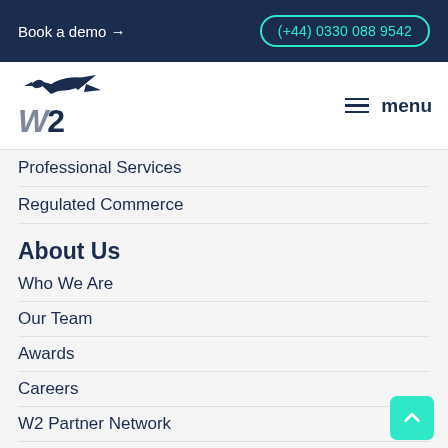Book a demo → (+44) 0330 088 9542
[Figure (logo): W2 company logo with bird/eagle icon above stylized W2 text in navy blue]
Professional Services
Regulated Commerce
About Us
Who We Are
Our Team
Awards
Careers
W2 Partner Network
Learn
Case Studies